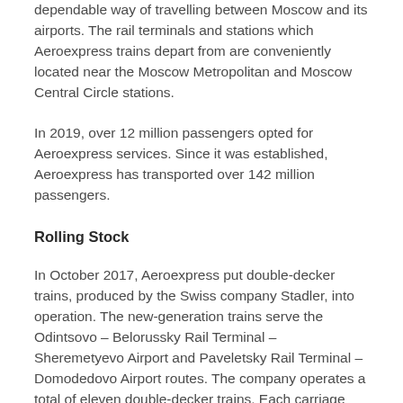dependable way of travelling between Moscow and its airports. The rail terminals and stations which Aeroexpress trains depart from are conveniently located near the Moscow Metropolitan and Moscow Central Circle stations.
In 2019, over 12 million passengers opted for Aeroexpress services. Since it was established, Aeroexpress has transported over 142 million passengers.
Rolling Stock
In October 2017, Aeroexpress put double-decker trains, produced by the Swiss company Stadler, into operation. The new-generation trains serve the Odintsovo – Belorussky Rail Terminal – Sheremetyevo Airport and Paveletsky Rail Terminal – Domodedovo Airport routes. The company operates a total of eleven double-decker trains. Each carriage features